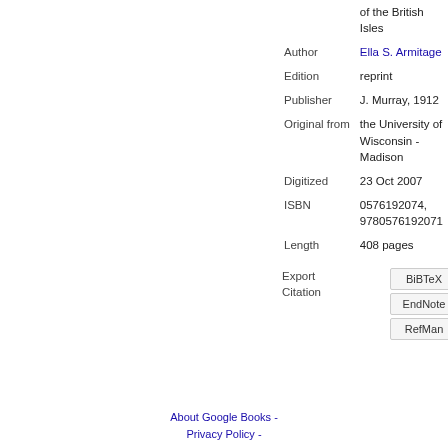| Field | Value |
| --- | --- |
|  | of the British Isles |
| Author | Ella S. Armitage |
| Edition | reprint |
| Publisher | J. Murray, 1912 |
| Original from | the University of Wisconsin - Madison |
| Digitized | 23 Oct 2007 |
| ISBN | 0576192074, 9780576192071 |
| Length | 408 pages |
Export Citation
BiBTeX
EndNote
RefMan
About Google Books - Privacy Policy -